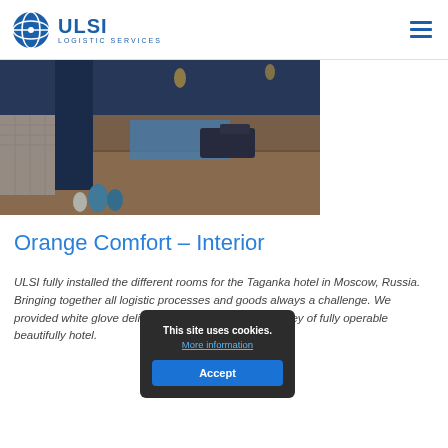ULSI LOGISTIC SERVICES
[Figure (photo): Interior of a Moroccan-style hotel spa or lounge with mosaic tile columns, pool, dark rattan furniture, hanging lanterns, and decorative vases.]
Orange Comfort – Interior
ULSI fully installed the different rooms for the Taganka hotel in Moscow, Russia. Bringing together all logistic processes and goods always a challenge. We provided white glove delivering able to hand over the key of fully operable beautifully hotel.
This site uses cookies. More information
Accept